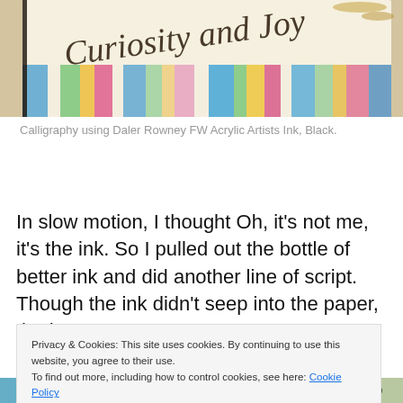[Figure (photo): Close-up photograph of calligraphy on paper showing cursive script text 'Curiosity and Joy' with colorful striped ribbon/paper in background]
Calligraphy using Daler Rowney FW Acrylic Artists Ink, Black.
In slow motion, I thought Oh, it's not me, it's the ink. So I pulled out the bottle of better ink and did another line of script. Though the ink didn't seep into the paper, the letters
Privacy & Cookies: This site uses cookies. By continuing to use this website, you agree to their use.
To find out more, including how to control cookies, see here: Cookie Policy
[Figure (photo): Bottom portion of a photo showing colorful striped paper/ribbon and a dark object]